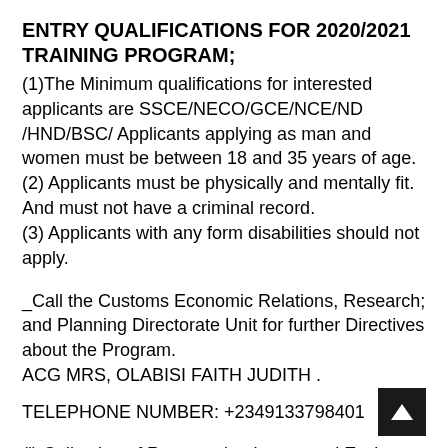ENTRY QUALIFICATIONS FOR 2020/2021 TRAINING PROGRAM;
(1)The Minimum qualifications for interested applicants are SSCE/NECO/GCE/NCE/ND /HND/BSC/ Applicants applying as man and women must be between 18 and 35 years of age.
(2) Applicants must be physically and mentally fit. And must not have a criminal record.
(3) Applicants with any form disabilities should not apply.
_Call the Customs Economic Relations, Research; and Planning Directorate Unit for further Directives about the Program.
ACG MRS, OLABISI FAITH JUDITH .
TELEPHONE NUMBER: +2349133798401
(i) Collection of Revenue i.e. Import and Excise Duties